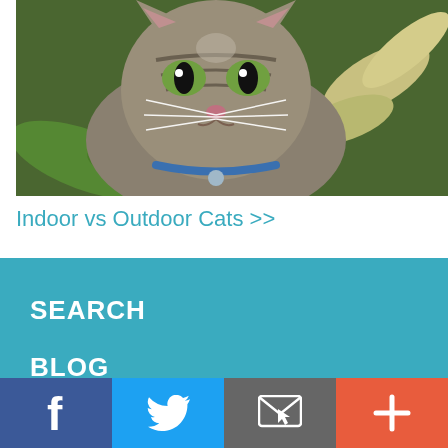[Figure (photo): Close-up photo of a tabby cat with green eyes wearing a blue collar, surrounded by green foliage]
Indoor vs Outdoor Cats >>
SEARCH
BLOG
LOGIN
[Figure (other): reCAPTCHA verification widget]
[Figure (other): Social media bottom bar with Facebook, Twitter, Email, and Plus icons]